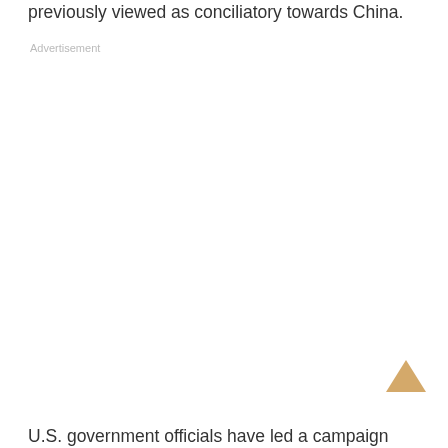previously viewed as conciliatory towards China.
Advertisement
U.S. government officials have led a campaign